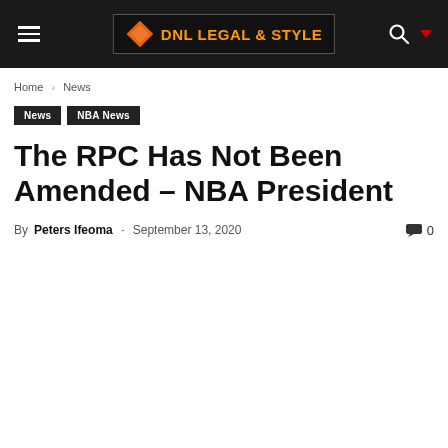DNL LEGAL & STYLE [navigation header]
Home › News
News
NBA News
The RPC Has Not Been Amended – NBA President
By Peters Ifeoma - September 13, 2020  0